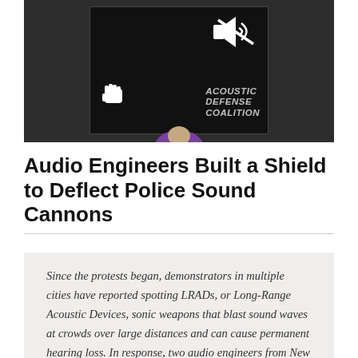[Figure (photo): A person holding up a black sign that reads 'ACOUSTIC DEFENSE COALITION' with a fist logo and a sound/speaker icon, set against a beige/tan background.]
Audio Engineers Built a Shield to Deflect Police Sound Cannons
Since the protests began, demonstrators in multiple cities have reported spotting LRADs, or Long-Range Acoustic Devices, sonic weapons that blast sound waves at crowds over large distances and can cause permanent hearing loss. In response, two audio engineers from New York